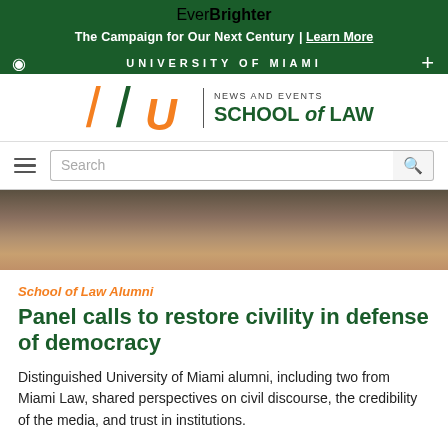EverBrighter
The Campaign for Our Next Century | Learn More
UNIVERSITY OF MIAMI
[Figure (logo): University of Miami School of Law logo with U mark and text NEWS AND EVENTS SCHOOL of LAW]
Search
[Figure (photo): Bottom portion of a photo showing a draped table and feet on a wooden floor]
School of Law Alumni
Panel calls to restore civility in defense of democracy
Distinguished University of Miami alumni, including two from Miami Law, shared perspectives on civil discourse, the credibility of the media, and trust in institutions.
08-29-2022